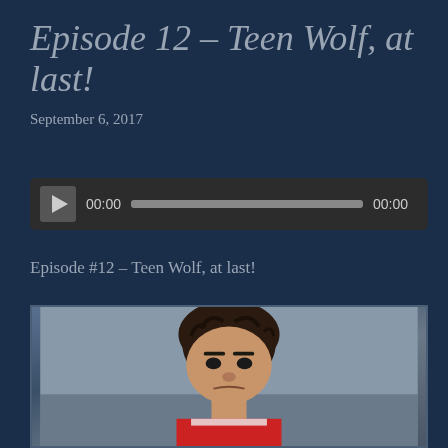Episode 12 – Teen Wolf, at last!
September 6, 2017
[Figure (other): Audio player widget with play button, timer showing 00:00, progress bar, and end time 00:00]
Episode #12 – Teen Wolf, at last!
[Figure (photo): Photo of a young man with dark wet hair, wearing a red and white basketball jersey, looking intensely at the camera with a serious expression. Background is blue/grey.]